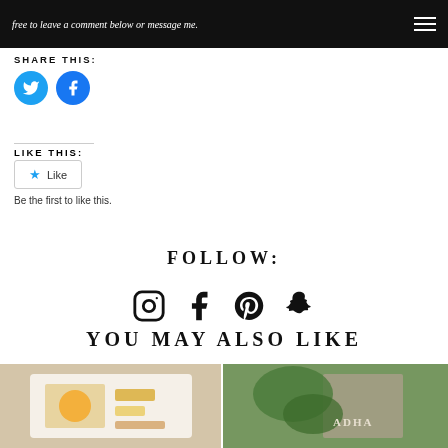free to leave a comment below or message me.
SHARE THIS:
[Figure (illustration): Twitter and Facebook circular social share buttons in teal/blue]
LIKE THIS:
Like  Be the first to like this.
FOLLOW:
[Figure (illustration): Social media icons: Instagram, Facebook, Pinterest, Snapchat]
YOU MAY ALSO LIKE
[Figure (photo): Left thumbnail: printed artwork on white plate on wooden table]
[Figure (photo): Right thumbnail: stone wall with greenery and ADHA sign]